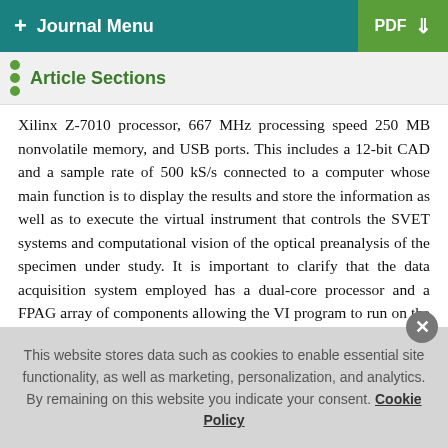+ Journal Menu | PDF
Article Sections
Xilinx Z-7010 processor, 667 MHz processing speed 250 MB nonvolatile memory, and USB ports. This includes a 12-bit CAD and a sample rate of 500 kS/s connected to a computer whose main function is to display the results and store the information as well as to execute the virtual instrument that controls the SVET systems and computational vision of the optical preanalysis of the specimen under study. It is important to clarify that the data acquisition system employed has a dual-core processor and a FPAG array of components allowing the VI program to run on the NI myRIO making the background noise attenuation process in real time. Figure 2(a) shows the complete diagram of the system and Figure 2(b) shows the...
This website stores data such as cookies to enable essential site functionality, as well as marketing, personalization, and analytics. By remaining on this website you indicate your consent. Cookie Policy